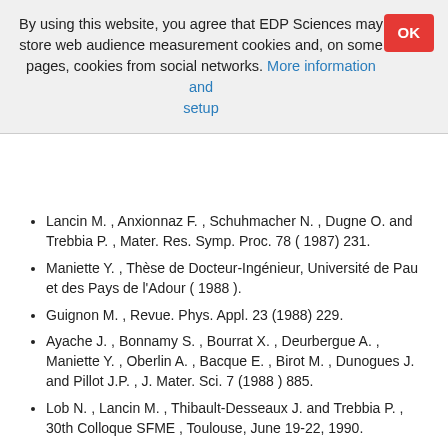By using this website, you agree that EDP Sciences may store web audience measurement cookies and, on some pages, cookies from social networks. More information and setup
Lancin M. , Anxionnaz F. , Schuhmacher N. , Dugne O. and Trebbia P. , Mater. Res. Symp. Proc. 78 ( 1987) 231.
Maniette Y. , Thèse de Docteur-Ingénieur, Université de Pau et des Pays de l'Adour ( 1988 ).
Guignon M. , Revue. Phys. Appl. 23 (1988) 229.
Ayache J. , Bonnamy S. , Bourrat X. , Deurbergue A. , Maniette Y. , Oberlin A. , Bacque E. , Birot M. , Dunogues J. and Pillot J.P. , J. Mater. Sci. 7 (1988 ) 885.
Lob N. , Lancin M. , Thibault-Desseaux J. and Trebbia P. , 30th Colloque SFME , Toulouse, June 19-22, 1990.
Maniette Y. and Oberlin A.-J. , Mater. Sci. 24 ( 1989) 3361. [CrossRef]
Le Coustumer P. , Monthioux M. and Oberlin A. , Colloque AMAC-CODEMAC "Matériaux Composites pour